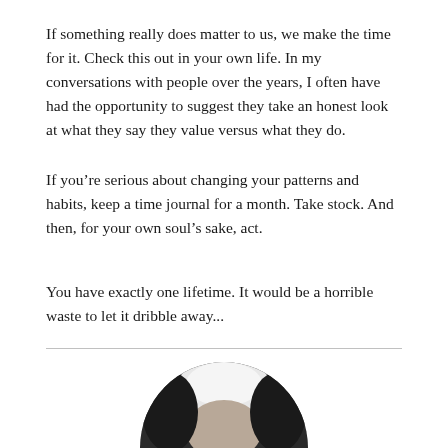If something really does matter to us, we make the time for it. Check this out in your own life. In my conversations with people over the years, I often have had the opportunity to suggest they take an honest look at what they say they value versus what they do.
If you’re serious about changing your patterns and habits, keep a time journal for a month. Take stock. And then, for your own soul’s sake, act.
You have exactly one lifetime. It would be a horrible waste to let it dribble away...
[Figure (photo): Black and white circular/oval cropped portrait photo of an elderly person with white hair, shown from about the shoulders up, centered at the bottom of the page.]